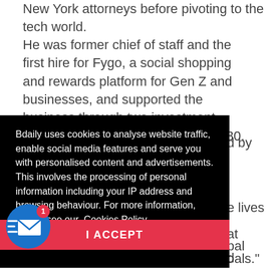New York attorneys before pivoting to the tech world.
He was former chief of staff and the first hire for Fygo, a social shopping and rewards platform for Gen Z and businesses, and supported the business through two investment rounds and as it grew to a team of 30.
Bdaily uses cookies to analyse website traffic, enable social media features and serve you with personalised content and advertisements. This involves the processing of personal information including your IP address and browsing behaviour. For more information, please see our Cookies Policy
I ACCEPT
assist our leaders to hit their lofty goals."